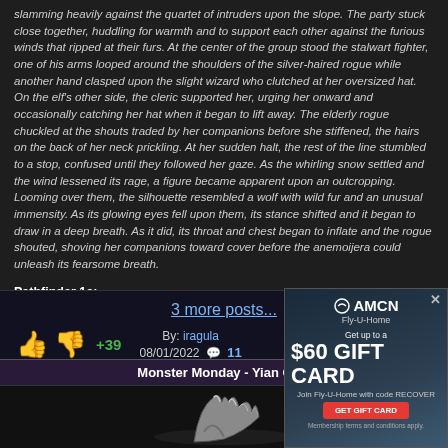slamming heavily against the quartet of intruders upon the slope. The party stuck close together, huddling for warmth and to support each other against the furious winds that ripped at their furs. At the center of the group stood the stalwart fighter, one of his arms looped around the shoulders of the silver-haired rogue while another hand clasped upon the slight wizard who clutched at her oversized hat. On the elf's other side, the cleric supported her, urging her onward and occasionally catching her hat when it began to lift away. The elderly rogue chuckled at the shouts traded by her companions before she stiffened, the hairs on the back of her neck prickling. At her sudden halt, the rest of the line stumbled to a stop, confused until they followed her gaze. As the whirling snow settled and the wind lessened its rage, a figure became apparent upon an outcropping. Looming over them, the silhouette resembled a wolf with wild fur and an unusual immensity. As its glowing eyes fell upon them, its stance shifted and it began to draw in a deep breath. As it did, its throat and chest began to inflate and the rogue shouted, shoving her companions toward cover before the anemoijera could unleash its fearsome breath.
Pathfinder 1e:
3 more posts...
+39  By: iragula  08/01/2022  11 comments
Monster Monday - Yian Ga...
[Figure (illustration): Creature claw/horn illustration in gray tones against dark background]